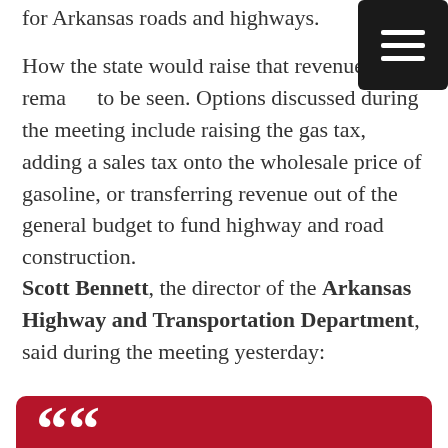for Arkansas roads and highways.
How the state would raise that revenue remains to be seen. Options discussed during the meeting include raising the gas tax, adding a sales tax onto the wholesale price of gasoline, or transferring revenue out of the general budget to fund highway and road construction.
Scott Bennett, the director of the Arkansas Highway and Transportation Department, said during the meeting yesterday:
We need to know whether to go forward. If you say don't go forward, we'll be finished with the meeting in about ten minutes.